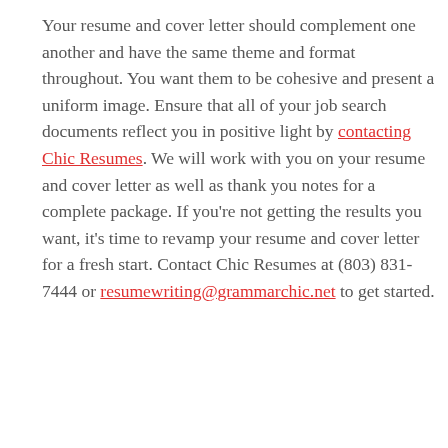Your resume and cover letter should complement one another and have the same theme and format throughout. You want them to be cohesive and present a uniform image. Ensure that all of your job search documents reflect you in positive light by contacting Chic Resumes. We will work with you on your resume and cover letter as well as thank you notes for a complete package. If you're not getting the results you want, it's time to revamp your resume and cover letter for a fresh start. Contact Chic Resumes at (803) 831-7444 or resumewriting@grammarchic.net to get started.